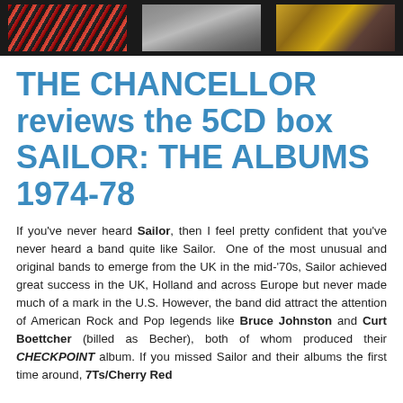[Figure (photo): Header strip with three album cover thumbnail images on a dark background]
THE CHANCELLOR reviews the 5CD box SAILOR: THE ALBUMS 1974-78
If you've never heard Sailor, then I feel pretty confident that you've never heard a band quite like Sailor. One of the most unusual and original bands to emerge from the UK in the mid-'70s, Sailor achieved great success in the UK, Holland and across Europe but never made much of a mark in the U.S. However, the band did attract the attention of American Rock and Pop legends like Bruce Johnston and Curt Boettcher (billed as Becher), both of whom produced their CHECKPOINT album. If you missed Sailor and their albums the first time around, 7Ts/Cherry Red